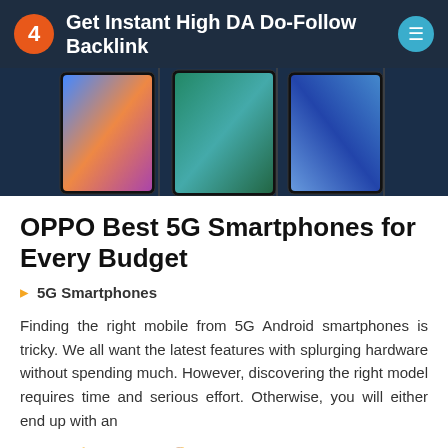4  Get Instant High DA Do-Follow Backlink
[Figure (photo): Three smartphones displayed side by side showing colorful wallpapers on dark background]
OPPO Best 5G Smartphones for Every Budget
5G Smartphones
Finding the right mobile from 5G Android smartphones is tricky. We all want the latest features with splurging hardware without spending much. However, discovering the right model requires time and serious effort. Otherwise, you will either end up with an
LIKE  DIS-LIKE  SHARE NOW  f  G+  in